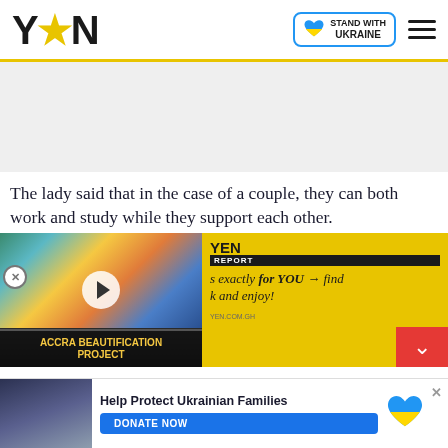YEN — Stand With Ukraine
[Figure (other): Advertisement placeholder grey area]
The lady said that in the case of a couple, they can both work and study while they support each other.
[Figure (other): YEN Report video thumbnail showing Accra Beautification Project mural with play button, alongside yellow YEN REPORT panel with italic text 's exactly for YOU → find k and enjoy!' and red close chevron button]
[Figure (other): Help Protect Ukrainian Families donate banner with photo of people, blue DONATE NOW button, Ukraine heart logo, and close X button]